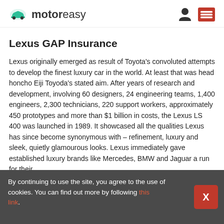motoreasy
Lexus GAP Insurance
Lexus originally emerged as result of Toyota's convoluted attempts to develop the finest luxury car in the world. At least that was head honcho Eiji Toyoda's stated aim. After years of research and development, involving 60 designers, 24 engineering teams, 1,400 engineers, 2,300 technicians, 220 support workers, approximately 450 prototypes and more than $1 billion in costs, the Lexus LS 400 was launched in 1989. It showcased all the qualities Lexus has since become synonymous with – refinement, luxury and sleek, quietly glamourous looks. Lexus immediately gave established luxury brands like Mercedes, BMW and Jaguar a run for their
By continuing to use the site, you agree to the use of cookies. You can find out more by following this link.